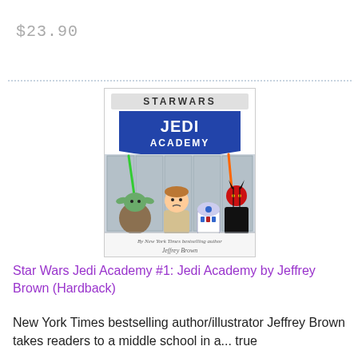$23.90
[Figure (illustration): Book cover of Star Wars Jedi Academy #1 by Jeffrey Brown, showing cartoon characters Yoda with green lightsaber, a young student in Jedi robes, R2-D2, and a red-horned Sith character in a school hallway setting, with 'Star Wars Jedi Academy' logo at top and text 'By New York Times bestselling author Jeffrey Brown' at bottom.]
Star Wars Jedi Academy #1: Jedi Academy by Jeffrey Brown (Hardback)
New York Times bestselling author/illustrator Jeffrey Brown takes readers to a middle school in a... true